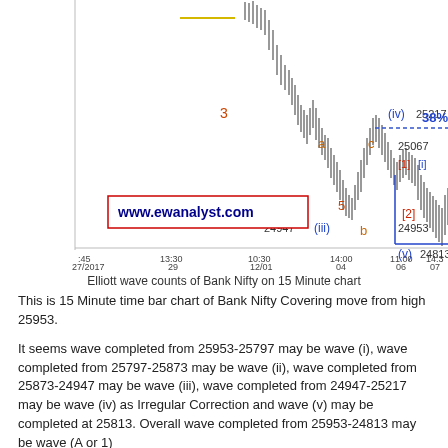[Figure (continuous-plot): Elliott wave count chart of Bank Nifty on 15 Minute time bar chart. Shows candlestick price action with Elliott wave labels: wave 3 (red), wave 5 (red), wave labels (i)(ii)(iii)(iv)(v) in blue, a/b/c labels in orange/red, [1][i][2] labels. Price levels marked: 25217, 25067, 24947, 24953, 24813. 38% retracement level marked. Website watermark: www.ewanalyst.com. X-axis shows dates/times: 27/2017 13:45, 13:30 29, 10:30 12/01, 14:00 04, 11:00 06, 14:30 07.]
Elliott wave counts of Bank Nifty on 15 Minute chart
This is 15 Minute time bar chart of Bank Nifty Covering move from high 25953.
It seems wave completed from 25953-25797 may be wave (i), wave completed from 25797-25873 may be wave (ii), wave completed from 25873-24947 may be wave (iii), wave completed from 24947-25217 may be wave (iv) as Irregular Correction and wave (v) may be completed at 25813. Overall wave completed from 25953-24813 may be wave (A or 1)